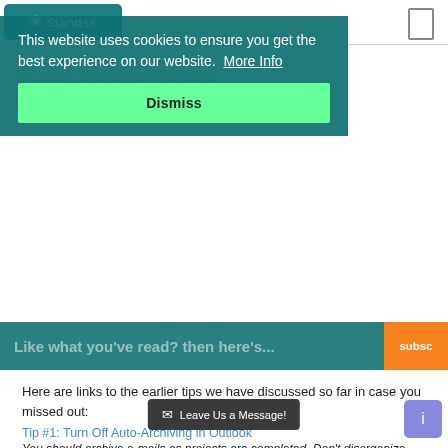[Figure (screenshot): Website header with Standss logo on teal background, and search icon on right]
If you have not subscribed to our blog yet, join us today so we can notify you when we post the tips on our blog.
This website uses cookies to ensure you get the best experience on our website.  More Info
Dismiss
Like what you've read? then here's ...
subsc
Here are links to the earlier tips we have discussed so far in case you missed out:
Tip #1: Turn Off Auto-Archiving in Outlook
You should archive e-mails as projects are completed. Don't disorganize yourself by archiving based on dates.
Tip 2: Think carefully before using Outlook
[Figure (screenshot): Leave Us a Message button widget at bottom of page]
[Figure (screenshot): Small purple floating button on right side]